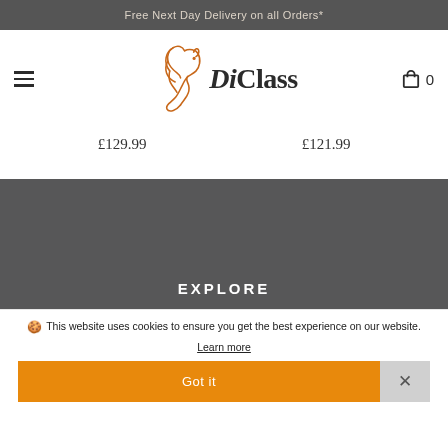Free Next Day Delivery on all Orders*
[Figure (logo): DiClass equestrian brand logo with horse head illustration in orange and brand name in serif font]
£129.99
£121.99
EXPLORE
This website uses cookies to ensure you get the best experience on our website. Learn more
Got it